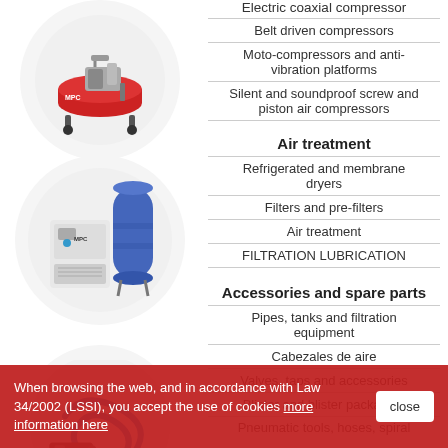[Figure (photo): Red belt-driven air compressor (MPC brand) on wheels, in a circular frame]
Electric coaxial compressor
Belt driven compressors
Moto-compressors and anti-vibration platforms
Silent and soundproof screw and piston air compressors
[Figure (photo): Air treatment equipment including a blue vertical tank and white dryer unit (MPC brand), in a circular frame]
Air treatment
Refrigerated and membrane dryers
Filters and pre-filters
Air treatment
FILTRATION LUBRICATION
[Figure (photo): Blue spiral hose and air tool accessories, partially visible in a circular frame]
Accessories and spare parts
Pipes, tanks and filtration equipment
Cabezales de aire
Valves, taps and accessories
Blister and blister packaging
Pneumatic tools, hoses, spiral
When browsing the web, and in accordance with Law 34/2002 (LSSI), you accept the use of cookies more information here